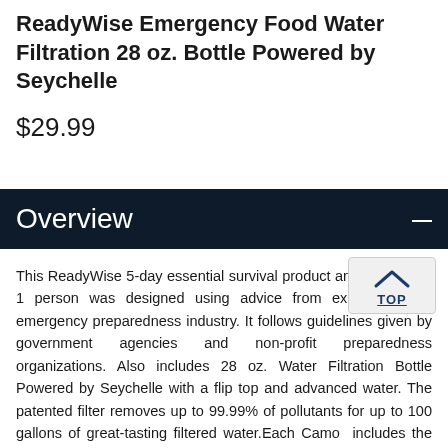ReadyWise Emergency Food Water Filtration 28 oz. Bottle Powered by Seychelle
$29.99
Overview
This ReadyWise 5-day essential survival product and food kit for 1 person was designed using advice from experts in the emergency preparedness industry. It follows guidelines given by government agencies and non-profit preparedness organizations. Also includes 28 oz. Water Filtration Bottle Powered by Seychelle with a flip top and advanced water. The patented filter removes up to 99.99% of pollutants for up to 100 gallons of great-tasting filtered water.Each Camo. Each includes the following: